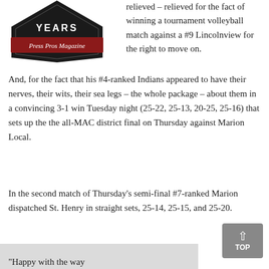[Figure (logo): Press Pros Magazine logo — black hexagonal badge with 'YEARS' text and dark red banner reading 'Press Pros Magazine' in gothic font]
relieved – relieved for the fact of winning a tournament volleyball match against a #9 Lincolnview for the right to move on.
And, for the fact that his #4-ranked Indians appeared to have their nerves, their wits, their sea legs – the whole package – about them in a convincing 3-1 win Tuesday night (25-22, 25-13, 20-25, 25-16) that sets up the the all-MAC district final on Thursday against Marion Local.
In the second match of Thursday's semi-final #7-ranked Marion dispatched St. Henry in straight sets, 25-14, 25-15, and 25-20.
"Happy with the way